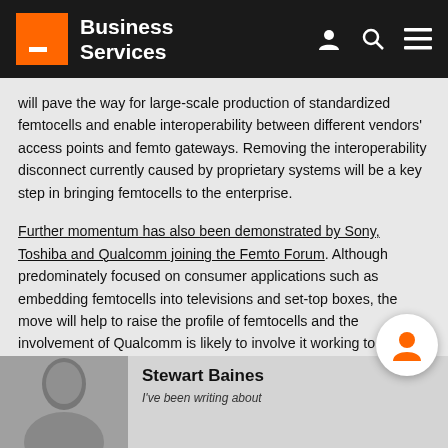Business Services
will pave the way for large-scale production of standardized femtocells and enable interoperability between different vendors' access points and femto gateways. Removing the interoperability disconnect currently caused by proprietary systems will be a key step in bringing femtocells to the enterprise.
Further momentum has also been demonstrated by Sony, Toshiba and Qualcomm joining the Femto Forum. Although predominately focused on consumer applications such as embedding femtocells into televisions and set-top boxes, the move will help to raise the profile of femtocells and the involvement of Qualcomm is likely to involve it working to increase volumes and cut costs for chipsets which will also have enterprise applications.
[Figure (photo): Headshot photo of author Stewart Baines in black and white]
Stewart Baines
I've been writing about